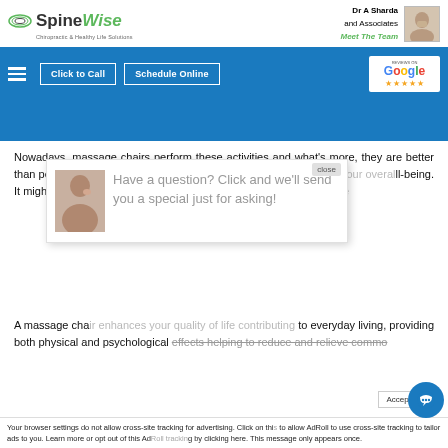[Figure (logo): SpineWise logo with green and grey icon, company name 'SpineWise' with tagline]
Dr A Sharda and Associates
Meet The Team
[Figure (photo): Photo of Dr A Sharda]
[Figure (screenshot): Navigation bar with hamburger menu, Click to Call button, Schedule Online button, and Google rating badge]
Nowadays, massage chairs perform these activities and what's more, they are better than people, never ge[tting tire]d. A massage ch[air can contribute to your overa]ll-being. It migh[t be utilized to treat various hea]lth conditions or it[s regular use can help in overall...]
[Figure (screenshot): Chat popup with female avatar image and text: Have a question? Click and we'll send you a special just for asking! with close button]
A massage cha[ir...] to everyday living, providing both physical and psychological effects helping to reduce and relieve commo[n...]
Your browser settings do not allow cross-site tracking for advertising. Click on thi[s] to allow AdRoll to use cross-site tracking to tailor ads to you. Learn more or opt out of this Ad[Roll trac]king by clicking here. This message only appears once.